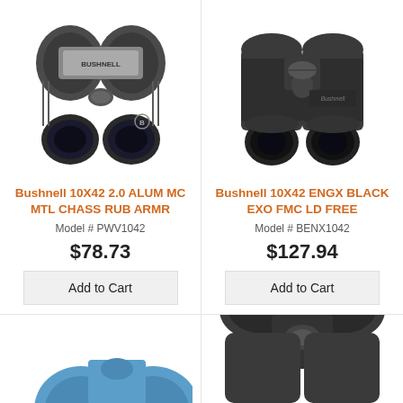[Figure (photo): Bushnell 10X42 2.0 ALUM MC MTL CHASS RUB ARMR binoculars, dark gray/green color with silver center band]
[Figure (photo): Bushnell 10X42 ENGX BLACK EXO FMC LD FREE binoculars, all black color with Bushnell logo]
Bushnell 10X42 2.0 ALUM MC MTL CHASS RUB ARMR
Bushnell 10X42 ENGX BLACK EXO FMC LD FREE
Model # PWV1042
Model # BENX1042
$78.73
$127.94
Add to Cart
Add to Cart
[Figure (photo): Partial view of blue/teal colored binoculars at bottom left]
[Figure (photo): Partial view of dark binoculars at bottom right]